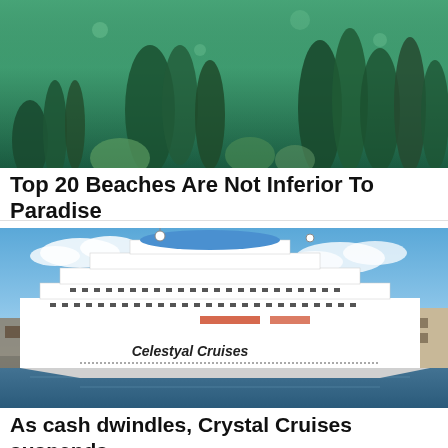[Figure (photo): Underwater scene showing coral, sea plants and marine life with green and teal tones]
Top 20 Beaches Are Not Inferior To Paradise
Best-journal.xyz | Sponsored
[Figure (photo): Large white cruise ship named Celestyal Cruises docked at a port, with blue sky and clouds in background]
As cash dwindles, Crystal Cruises suspends